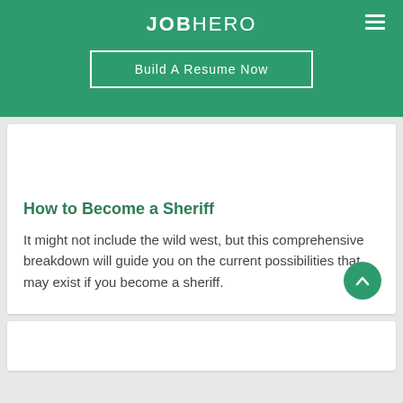JOBHERO
Build A Resume Now
How to Become a Sheriff
It might not include the wild west, but this comprehensive breakdown will guide you on the current possibilities that may exist if you become a sheriff.